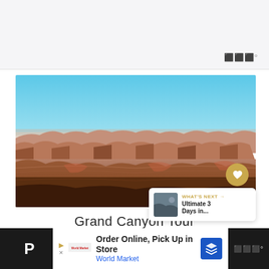[Figure (photo): Panoramic photo of the Grand Canyon showing layered red and orange rock formations, deep canyon walls, and bright blue sky at the top.]
Grand Canyon Tour
Order Online, Pick Up in Store
World Market